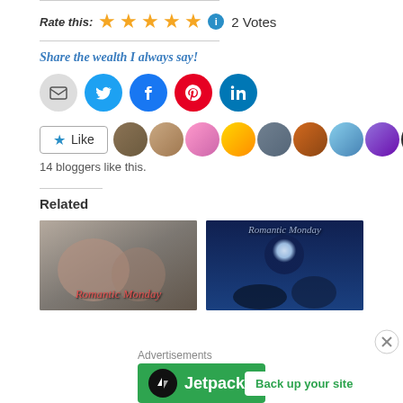Rate this: ★★★★★ ℹ 2 Votes
Share the wealth I always say!
[Figure (infographic): Social share buttons: email (grey circle), Twitter (blue circle), Facebook (blue circle), Pinterest (red circle), LinkedIn (teal circle)]
[Figure (infographic): Like button and avatar strip showing 14 blogger avatars]
14 bloggers like this.
Related
[Figure (photo): Black and white photo with red italic text 'Romantic Monday']
[Figure (photo): Blue-toned moonlit scene with text 'Romantic Monday']
Advertisements
[Figure (infographic): Jetpack advertisement banner: green background, Jetpack logo and name on left, 'Back up your site' white button on right]